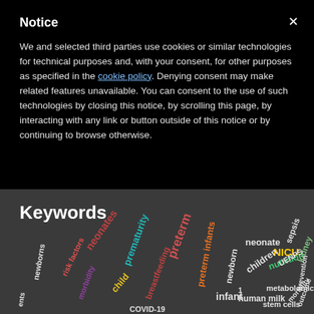Notice
We and selected third parties use cookies or similar technologies for technical purposes and, with your consent, for other purposes as specified in the cookie policy. Denying consent may make related features unavailable. You can consent to the use of such technologies by closing this notice, by scrolling this page, by interacting with any link or button outside of this notice or by continuing to browse otherwise.
Keywords
[Figure (infographic): Word cloud of medical keywords including neonates, prematurity, preterm, neonate, NICU, nutrition, sepsis, kidney, newborns, risk factors, child, breastfeeding, newborn, children, UENPS, metabolomics, human milk, stem cells, prevention, COVID-19, infant, morbidity, mortality, outcome, ents, parents]